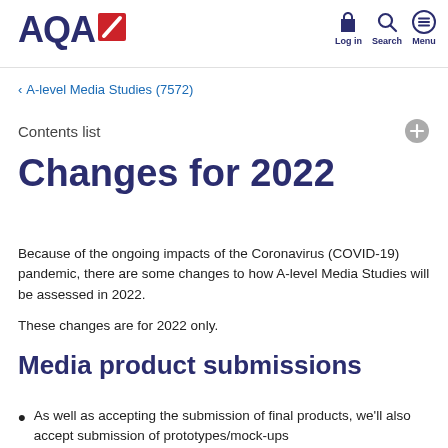[Figure (logo): AQA logo with red diagonal slash icon in dark navy blue]
[Figure (infographic): Navigation icons: lock (Log in), magnifier (Search), hamburger (Menu) in dark navy]
< A-level Media Studies (7572)
Contents list
Changes for 2022
Because of the ongoing impacts of the Coronavirus (COVID-19) pandemic, there are some changes to how A-level Media Studies will be assessed in 2022.
These changes are for 2022 only.
Media product submissions
As well as accepting the submission of final products, we'll also accept submission of prototypes/mock-ups